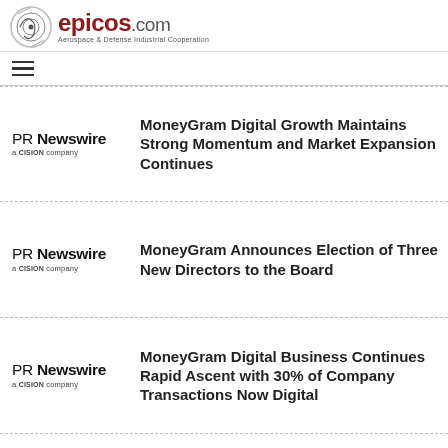epicos.com — Aerospace & Defense Industrial Cooperation
☰ (navigation menu)
[Figure (logo): PR Newswire a CISION company logo]
MoneyGram Digital Growth Maintains Strong Momentum and Market Expansion Continues
[Figure (logo): PR Newswire a CISION company logo]
MoneyGram Announces Election of Three New Directors to the Board
[Figure (logo): PR Newswire a CISION company logo]
MoneyGram Digital Business Continues Rapid Ascent with 30% of Company Transactions Now Digital